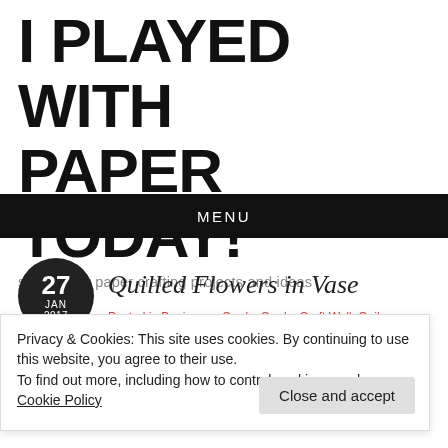I PLAYED WITH PAPER TODAY!
sharing my paper crafting projects and ideas
MENU
[Figure (other): Dark circular date badge showing '27 JAN 2017']
Quilled Flowers in Vase
Privacy & Cookies: This site uses cookies. By continuing to use this website, you agree to their use.
To find out more, including how to control cookies, see here: Cookie Policy
Close and accept